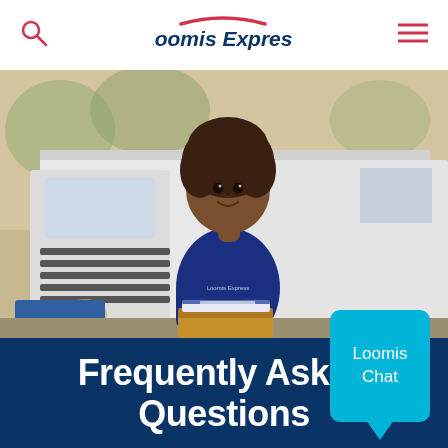Loomis Express
[Figure (photo): A female Loomis Express delivery driver in a blue uniform holding packages, standing in front of a white delivery truck outdoors.]
Loomis Chat
Frequently Asked Questions